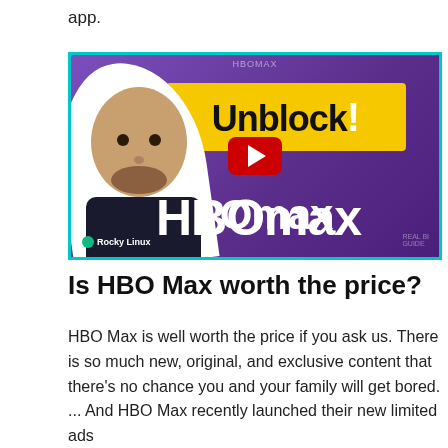app.
[Figure (screenshot): YouTube video thumbnail showing a man next to text 'Unblock! HBO Max' with a red YouTube play button in the center, teal border, purple background. Rocky Linux branding at bottom left.]
Is HBO Max worth the price?
HBO Max is well worth the price if you ask us. There is so much new, original, and exclusive content that there's no chance you and your family will get bored. ... And HBO Max recently launched their new limited ads